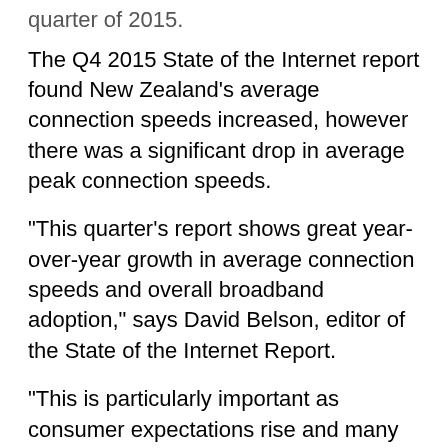quarter of 2015.
The Q4 2015 State of the Internet report found New Zealand’s average connection speeds increased, however there was a significant drop in average peak connection speeds.
“This quarter’s report shows great year-over-year growth in average connection speeds and overall broadband adoption,” says David Belson, editor of the State of the Internet Report.
“This is particularly important as consumer expectations rise and many high-profile events, like the summer games in Rio, will be streamed this year,” he says.
“The progress we’re seeing across our key metrics shows that, while there’s still work to be done, more parts of the world are increasingly able to support the delivery of broadcast-quality video content online.”